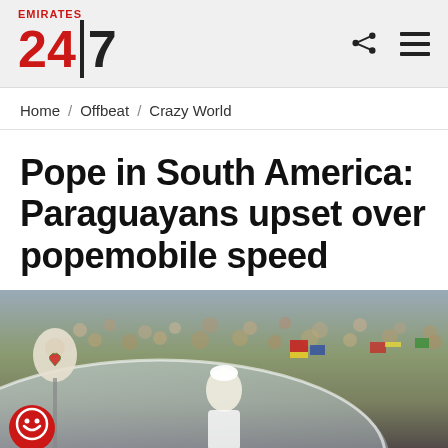Emirates 24|7
Home / Offbeat / Crazy World
Pope in South America: Paraguayans upset over popemobile speed
[Figure (photo): Photo of crowds gathered around popemobile in South America, with a pope cutout sign visible in the foreground and flags in the background]